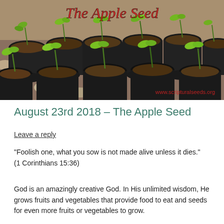[Figure (photo): Photo of many small seedlings growing in black plastic pots on a gravel surface. Overlaid text at top reads 'The Apple Seed' in red italic font, and watermark at bottom right reads 'www.scripturalseeds.org'.]
August 23rd 2018 – The Apple Seed
Leave a reply
“Foolish one, what you sow is not made alive unless it dies.” (1 Corinthians 15:36)
God is an amazingly creative God. In His unlimited wisdom, He grows fruits and vegetables that provide food to eat and seeds for even more fruits or vegetables to grow.